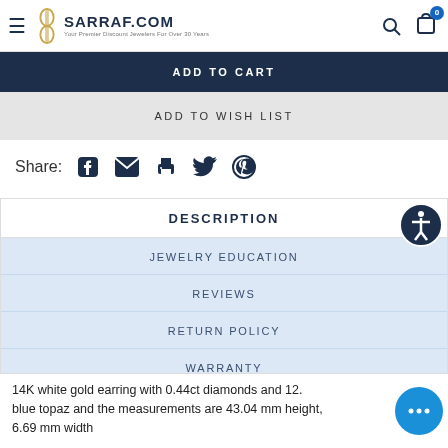SARRAF.COM — Your Premier Discount Jewelers For Over 30 Years
ADD TO CART
ADD TO WISH LIST
Share:
DESCRIPTION
JEWELRY EDUCATION
REVIEWS
RETURN POLICY
WARRANTY
14K white gold earring with 0.44ct diamonds and 12. blue topaz and the measurements are 43.04 mm height, 6.69 mm width